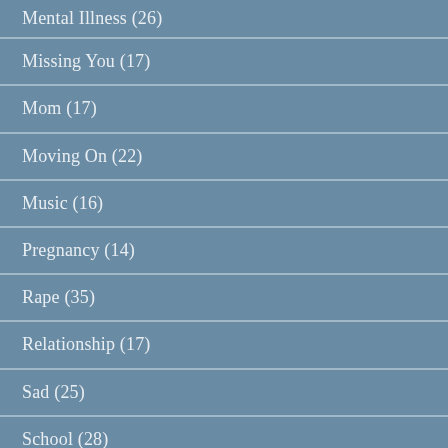Mental Illness (26)
Missing You (17)
Mom (17)
Moving On (22)
Music (16)
Pregnancy (14)
Rape (35)
Relationship (17)
Sad (25)
School (28)
Short Love Poems (15)
Short Poems (19)